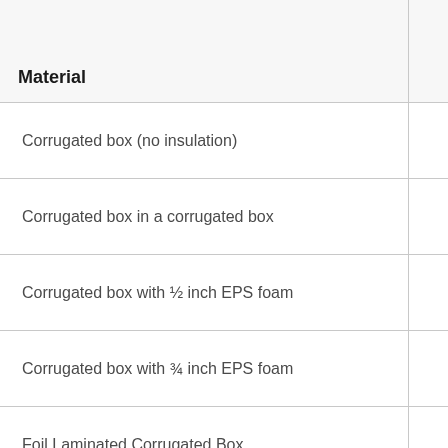| Material |  |
| --- | --- |
| Corrugated box (no insulation) |  |
| Corrugated box in a corrugated box |  |
| Corrugated box with ½ inch EPS foam |  |
| Corrugated box with ¾ inch EPS foam |  |
| Foil Laminated Corrugated Box |  |
| Foil Laminated Box with Foil Box Liner |  |